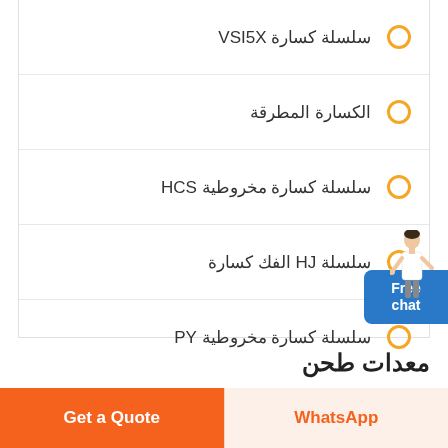سلسلة كسارة VSI5X
الكسارة المطرقة
سلسلة كسارة مخروطية HCS
سلسلة HJ الفك كسارة
سلسلة كسارة مخروطية PY
معدات طحن
Get a Quote | WhatsApp